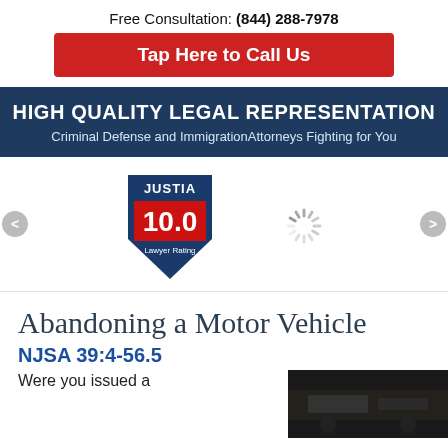Free Consultation: (844) 288-7978
Tap Here to Call Us
HIGH QUALITY LEGAL REPRESENTATION
Criminal Defense and Immigration Attorneys Fighting for You
[Figure (logo): Justia 10.0 Lawyer Rating badge and a loading spinner]
Abandoning a Motor Vehicle
NJSA 39:4-56.5
Were you issued a
[Figure (photo): Dark photo of a vehicle scene]